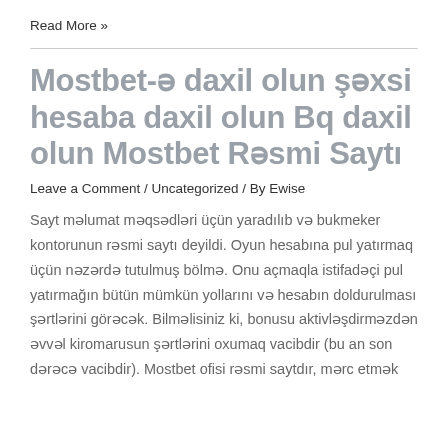Read More »
Mostbet-ə daxil olun şəxsi hesaba daxil olun Bq daxil olun Mostbet Rəsmi Saytı
Leave a Comment / Uncategorized / By Ewise
Sayt məlumat məqsədləri üçün yaradılıb və bukmeker kontorunun rəsmi saytı deyildi. Oyun hesabına pul yatırmaq üçün nəzərdə tutulmuş bölmə. Onu açmaqla istifadəçi pul yatırmağın bütün mümkün yollarını və hesabın doldurulması şərtlərini görəcək. Bilməlisiniz ki, bonusu aktivləşdirməzdən əvvəl kiromarusun şərtlərini oxumaq vacibdir (bu an son dərəcə vacibdir). Mostbet ofisi rəsmi saytdır, mərc etmək